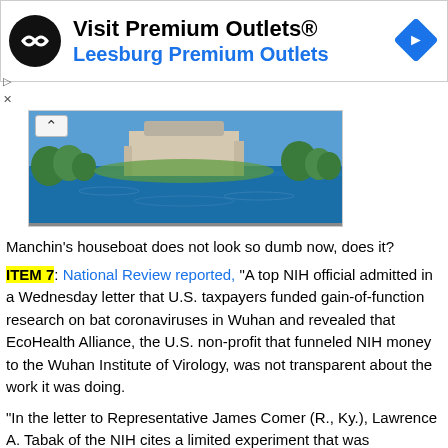[Figure (screenshot): Advertisement banner for 'Visit Premium Outlets® Leesburg Premium Outlets' with black circular logo with infinity-like symbol, blue text subtitle, and blue diamond navigation icon on right.]
[Figure (photo): Aerial photo of what appears to be a building complex or estate with blue water/river and green trees surrounding it.]
Manchin's houseboat does not look so dumb now, does it?
ITEM 7: National Review reported, "A top NIH official admitted in a Wednesday letter that U.S. taxpayers funded gain-of-function research on bat coronaviruses in Wuhan and revealed that EcoHealth Alliance, the U.S. non-profit that funneled NIH money to the Wuhan Institute of Virology, was not transparent about the work it was doing.
"In the letter to Representative James Comer (R., Ky.), Lawrence A. Tabak of the NIH cites a limited experiment that was conducted to test if 'spike proteins from naturally